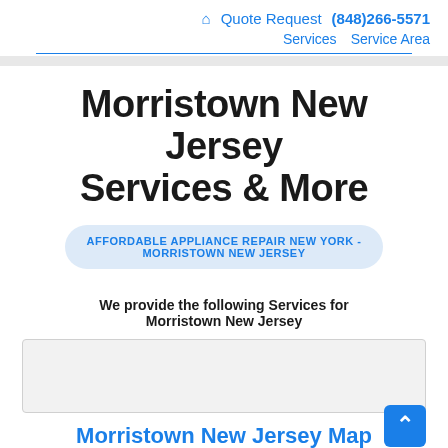🏠 Quote Request (848)266-5571 Services Service Area
Morristown New Jersey Services & More
AFFORDABLE APPLIANCE REPAIR NEW YORK - MORRISTOWN NEW JERSEY
We provide the following Services for Morristown New Jersey
[Figure (map): Map area placeholder for Morristown New Jersey]
Morristown New Jersey Map